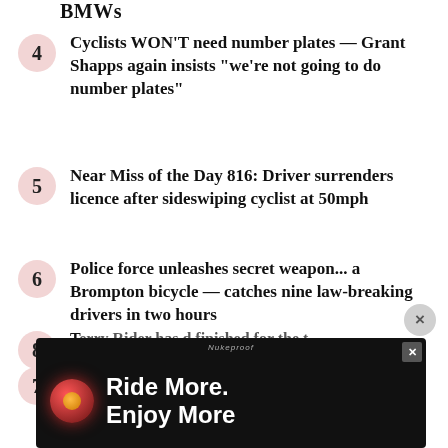BMWs
4 Cyclists WON'T need number plates — Grant Shapps again insists "we're not going to do number plates"
5 Near Miss of the Day 816: Driver surrenders licence after sideswiping cyclist at 50mph
6 Police force unleashes secret weapon... a Brompton bicycle — catches nine law-breaking drivers in two hours
7 "It's quite painful to say": Katie Archibald thanks fans for support since death of partner Rab Wardell
8 [partially visible]
[Figure (screenshot): Advertisement banner: 'Ride More. Enjoy More' with a bicycle light product image on dark background]